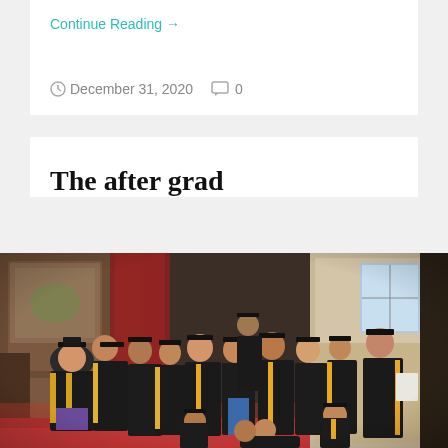Continue Reading →
December 31, 2020   0
The after grad
[Figure (photo): Group photo of university graduates in black academic gowns and mortarboard caps with orange/yellow trim, posing inside an ornate hall with red curtains and dark wood paneling. Approximately 13-15 graduates, some standing, some crouching, one lying on the floor in front.]